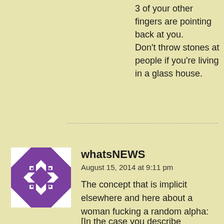3 of your other fingers are pointing back at you. Don't throw stones at people if you're living in a glass house.
[Figure (illustration): Purple and white geometric quilt-pattern avatar icon]
whatsNEWS
August 15, 2014 at 9:11 pm
The concept that is implicit elsewhere and here about a woman fucking a random alpha:
[In the case you describe